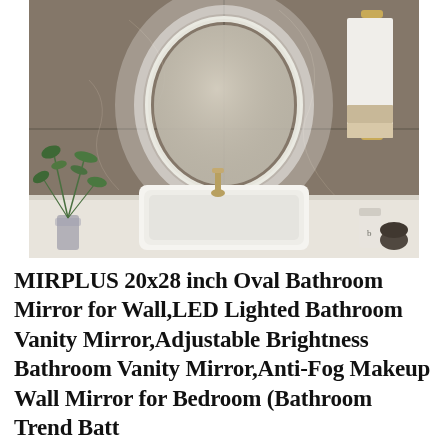[Figure (photo): A backlit oval LED bathroom mirror mounted on a grey marble-effect wall above a white rectangular vessel sink on a white marble countertop. A green plant in a glass vase is on the left, a white towel hangs on a gold rail on the right, and skincare products sit in the bottom right corner.]
MIRPLUS 20x28 inch Oval Bathroom Mirror for Wall,LED Lighted Bathroom Vanity Mirror,Adjustable Brightness Bathroom Vanity Mirror,Anti-Fog Makeup Wall Mirror for Bedroom (Bathroom Trend Batt...